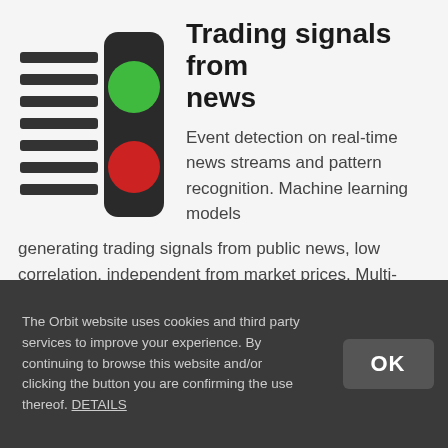[Figure (illustration): A traffic light icon showing green light on top and red light on bottom, with horizontal lines to the left suggesting signal/data streams.]
Trading signals from news
Event detection on real-time news streams and pattern recognition. Machine learning models generating trading signals from public news, low correlation, independent from market prices. Multi-factor approach supports all asset classes.
The Orbit website uses cookies and third party services to improve your experience. By continuing to browse this website and/or clicking the button you are confirming the use thereof. DETAILS
OK